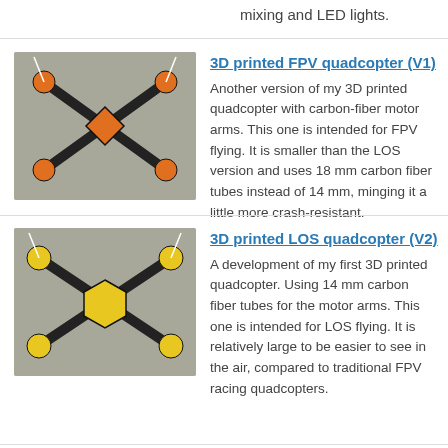mixing and LED lights.
[Figure (photo): Orange 3D printed FPV quadcopter with carbon-fiber motor arms seen from above on concrete surface]
3D printed FPV quadcopter (V1)
Another version of my 3D printed quadcopter with carbon-fiber motor arms. This one is intended for FPV flying. It is smaller than the LOS version and uses 18 mm carbon fiber tubes instead of 14 mm, minging it a little more crash-resistant.
[Figure (photo): Yellow 3D printed LOS quadcopter with carbon-fiber motor arms seen from above on concrete surface]
3D printed LOS quadcopter (V2)
A development of my first 3D printed quadcopter. Using 14 mm carbon fiber tubes for the motor arms. This one is intended for LOS flying. It is relatively large to be easier to see in the air, compared to traditional FPV racing quadcopters.